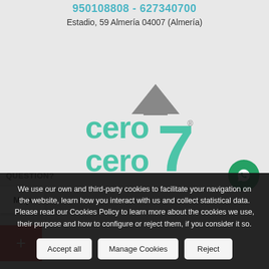950108808 - 627340700
Estadio, 59 Almería 04007 (Almería)
[Figure (logo): cero7 logo — stylized teal letters 'cero cero 7' with a grey triangle/house shape above the 7]
Map
+
QUESTION?
We use our own and third-party cookies to facilitate your navigation on the website, learn how you interact with us and collect statistical data. Please read our Cookies Policy to learn more about the cookies we use, their purpose and how to configure or reject them, if you consider it so.
Accept all
Manage Cookies
Reject